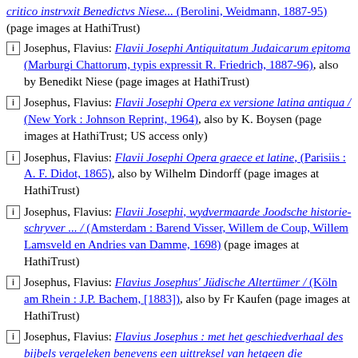critico instrvxit Benedictvs Niese... (Berolini, Weidmann, 1887-95) (page images at HathiTrust)
Josephus, Flavius: Flavii Josephi Antiquitatum Judaicarum epitoma (Marburgi Chattorum, typis expressit R. Friedrich, 1887-96), also by Benedikt Niese (page images at HathiTrust)
Josephus, Flavius: Flavii Josephi Opera ex versione latina antiqua / (New York : Johnson Reprint, 1964), also by K. Boysen (page images at HathiTrust; US access only)
Josephus, Flavius: Flavii Josephi Opera graece et latine, (Parisiis : A. F. Didot, 1865), also by Wilhelm Dindorff (page images at HathiTrust)
Josephus, Flavius: Flavii Josephi, wydvermaarde Joodsche historie-schryver ... / (Amsterdam : Barend Visser, Willem de Coup, Willem Lamsveld en Andries van Damme, 1698) (page images at HathiTrust)
Josephus, Flavius: Flavius Josephus' Jüdische Altertümer / (Köln am Rhein : J.P. Bachem, [1883]), also by Fr Kaufen (page images at HathiTrust)
Josephus, Flavius: Flavius Josephus : met het geschiedverhaal des bijbels vergeleken benevens een uittreksel van hetgeen die geschiedschrijver meer dan de gewijde boeken bevat / (Schiedam : H. A. M. Roelants, 1847), also by Sibrand van Dissel (page images at HathiTrust)